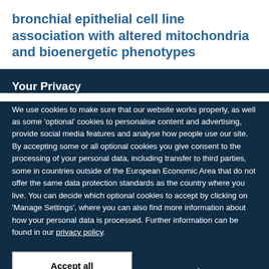bronchial epithelial cell line association with altered mitochondria and bioenergetic phenotypes
Your Privacy
We use cookies to make sure that our website works properly, as well as some 'optional' cookies to personalise content and advertising, provide social media features and analyse how people use our site. By accepting some or all optional cookies you give consent to the processing of your personal data, including transfer to third parties, some in countries outside of the European Economic Area that do not offer the same data protection standards as the country where you live. You can decide which optional cookies to accept by clicking on 'Manage Settings', where you can also find more information about how your personal data is processed. Further information can be found in our privacy policy.
Accept all cookies
Manage preferences